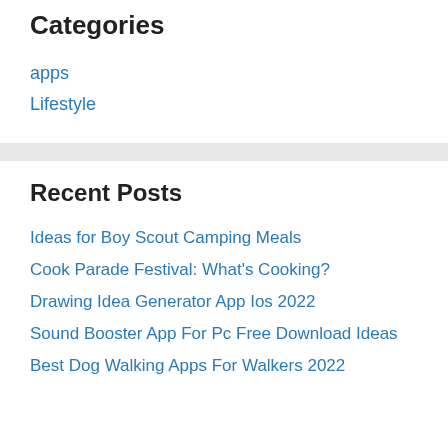Categories
apps
Lifestyle
Recent Posts
Ideas for Boy Scout Camping Meals
Cook Parade Festival: What's Cooking?
Drawing Idea Generator App Ios 2022
Sound Booster App For Pc Free Download Ideas
Best Dog Walking Apps For Walkers 2022